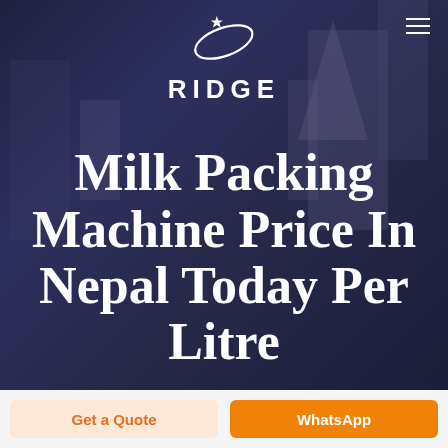[Figure (photo): Dark blue/purple industrial background with milk packing machinery equipment visible]
RIDGE
Milk Packing Machine Price In Nepal Today Per Litre
Get a Quote
WhatsApp